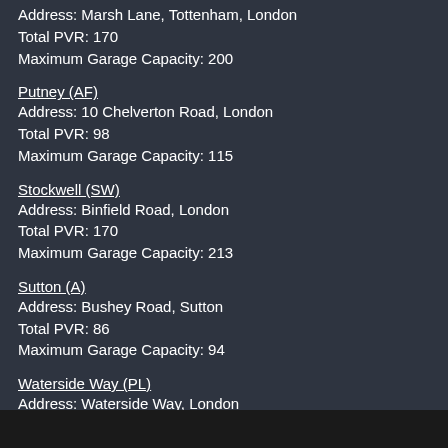Address: Marsh Lane, Tottenham, London
Total PVR: 170
Maximum Garage Capacity: 200
Putney (AF)
Address: 10 Chelverton Road, London
Total PVR: 98
Maximum Garage Capacity: 115
Stockwell (SW)
Address: Binfield Road, London
Total PVR: 170
Maximum Garage Capacity: 213
Sutton (A)
Address: Bushey Road, Sutton
Total PVR: 86
Maximum Garage Capacity: 94
Waterside Way (PL)
Address: Waterside Way, London
Total PVR: 36
Maximum Garage Capacity: 58
Waterloo (RA)
Address: Cornwall Road, London